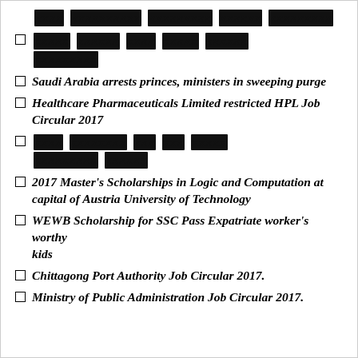[redacted] [redacted] [redacted]
[redacted] [redacted] [redacted] [redacted] [redacted] [redacted]
Saudi Arabia arrests princes, ministers in sweeping purge
Healthcare Pharmaceuticals Limited restricted HPL Job Circular 2017
[redacted] [redacted] [redacted] [redacted] [redacted] [redacted]
2017 Master's Scholarships in Logic and Computation at capital of Austria University of Technology
WEWB Scholarship for SSC Pass Expatriate worker's worthy kids
Chittagong Port Authority Job Circular 2017.
Ministry of Public Administration Job Circular 2017.